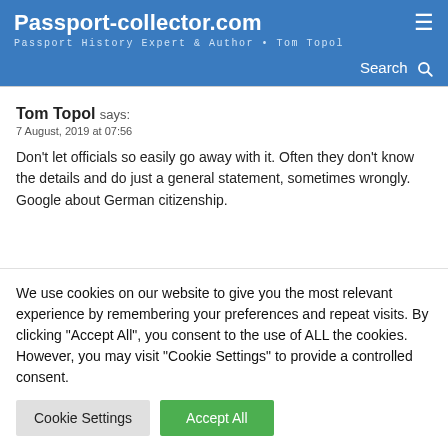Passport-collector.com
Passport History Expert & Author • Tom Topol
Search
Tom Topol says:
7 August, 2019 at 07:56
Don't let officials so easily go away with it. Often they don't know the details and do just a general statement, sometimes wrongly. Google about German citizenship.
We use cookies on our website to give you the most relevant experience by remembering your preferences and repeat visits. By clicking "Accept All", you consent to the use of ALL the cookies. However, you may visit "Cookie Settings" to provide a controlled consent.